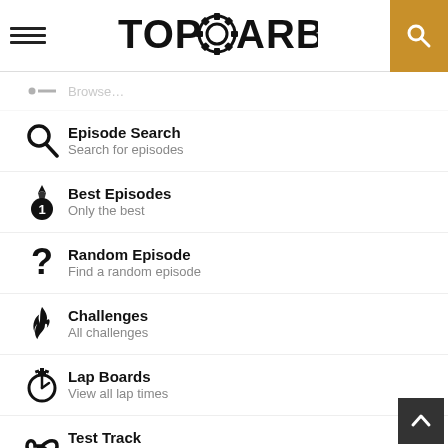TOPGEARBOX
Episode Search — Search for episodes
Best Episodes — Only the best
Random Episode — Find a random episode
Challenges — All challenges
Lap Boards — View all lap times
Test Track — View the map
Stig Quotes — Some say...
Back to Entertainment — Browse all shows and news